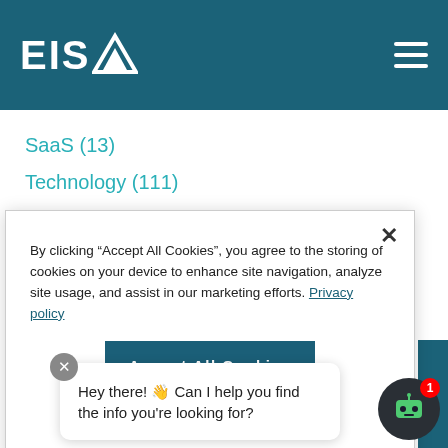EISA
SaaS (13)
Technology (111)
Transformation (119)
By clicking “Accept All Cookies”, you agree to the storing of cookies on your device to enhance site navigation, analyze site usage, and assist in our marketing efforts. Privacy policy
Accept All Cookies
Hey there! 👋 Can I help you find the info you're looking for?